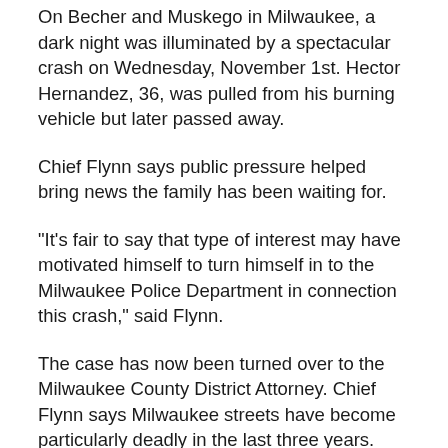On Becher and Muskego in Milwaukee, a dark night was illuminated by a spectacular crash on Wednesday, November 1st. Hector Hernandez, 36, was pulled from his burning vehicle but later passed away.
Chief Flynn says public pressure helped bring news the family has been waiting for.
"It's fair to say that type of interest may have motivated himself to turn himself in to the Milwaukee Police Department in connection this crash," said Flynn.
The case has now been turned over to the Milwaukee County District Attorney. Chief Flynn says Milwaukee streets have become particularly deadly in the last three years.